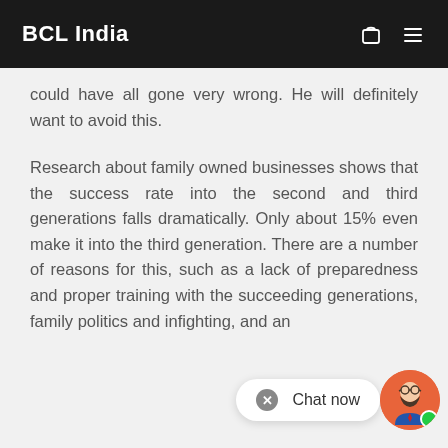BCL India
could have all gone very wrong. He will definitely want to avoid this.
Research about family owned businesses shows that the success rate into the second and third generations falls dramatically. Only about 15% even make it into the third generation. There are a number of reasons for this, such as a lack of preparedness and proper training with the succeeding generations, family politics and infighting, and an